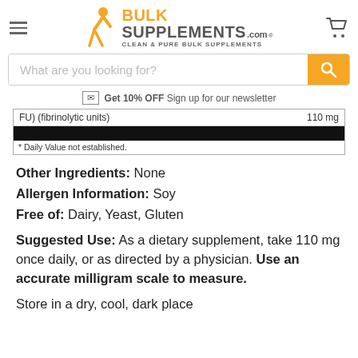BulkSupplements.com — Clean & Pure Bulk Supplements
What are you looking for?
Get 10% OFF Sign up for our newsletter
| Ingredient | Amount |
| --- | --- |
| FU) (fibrinolytic units) | 110 mg |
| [redacted] |  |
| * Daily Value not established. |  |
Other Ingredients: None
Allergen Information: Soy
Free of: Dairy, Yeast, Gluten
Suggested Use: As a dietary supplement, take 110 mg once daily, or as directed by a physician. Use an accurate milligram scale to measure.
Store in a dry, cool, dark place